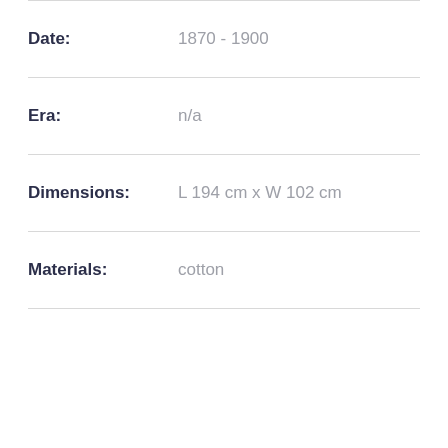Date: 1870 - 1900
Era: n/a
Dimensions: L 194 cm x W 102 cm
Materials: cotton